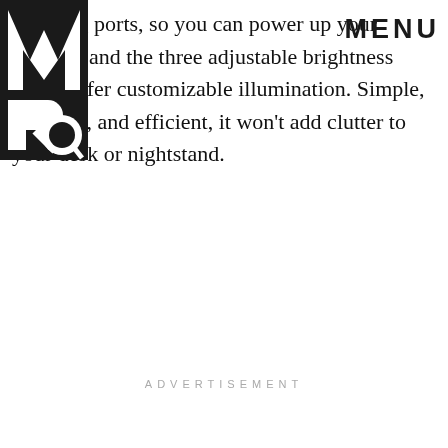MRQ MENU
charging ports, so you can power up your devices, and the three adjustable brightness levels offer customizable illumination. Simple, compact, and efficient, it won't add clutter to your desk or nightstand.
ADVERTISEMENT